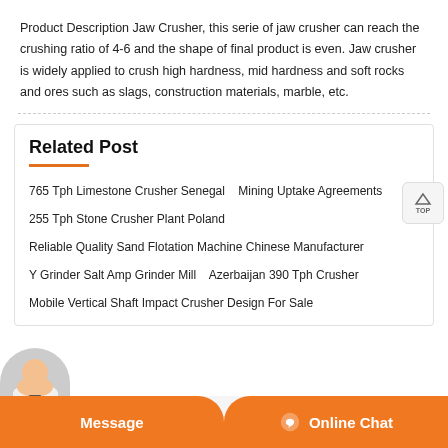Product Description Jaw Crusher, this serie of jaw crusher can reach the crushing ratio of 4-6 and the shape of final product is even. Jaw crusher is widely applied to crush high hardness, mid hardness and soft rocks and ores such as slags, construction materials, marble, etc.
Related Post
765 Tph Limestone Crusher Senegal   Mining Uptake Agreements
255 Tph Stone Crusher Plant Poland
Reliable Quality Sand Flotation Machine Chinese Manufacturer
Y Grinder Salt Amp Grinder Mill   Azerbaijan 390 Tph Crusher
Mobile Vertical Shaft Impact Crusher Design For Sale